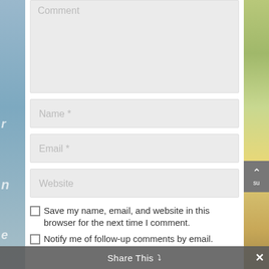Comment
Name *
Email *
Website
Save my name, email, and website in this browser for the next time I comment.
Notify me of follow-up comments by email.
Share This